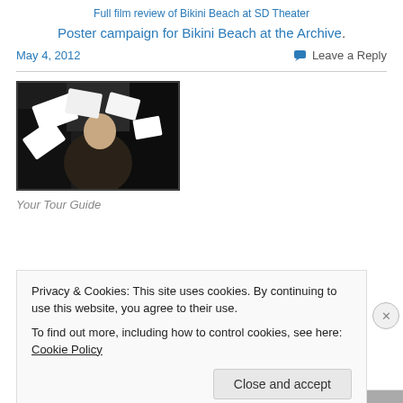Full film review of Bikini Beach at SD Theater
Poster campaign for Bikini Beach at the Archive.
May 4, 2012
Leave a Reply
[Figure (photo): A man in a dark jacket inside what appears to be a vehicle, surrounded by white papers flying around him.]
Your Tour Guide
Privacy & Cookies: This site uses cookies. By continuing to use this website, you agree to their use.
To find out more, including how to control cookies, see here: Cookie Policy
Close and accept